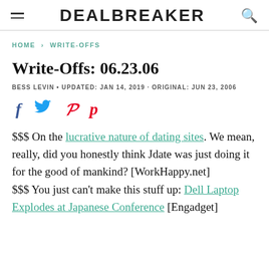DEALBREAKER
HOME > WRITE-OFFS
Write-Offs: 06.23.06
BESS LEVIN · UPDATED: JAN 14, 2019 · ORIGINAL: JUN 23, 2006
[Figure (other): Social share icons: Facebook (f), Twitter (bird), Pinterest (P)]
$$$ On the lucrative nature of dating sites. We mean, really, did you honestly think Jdate was just doing it for the good of mankind? [WorkHappy.net]
$$$ You just can't make this stuff up: Dell Laptop Explodes at Japanese Conference [Engadget]